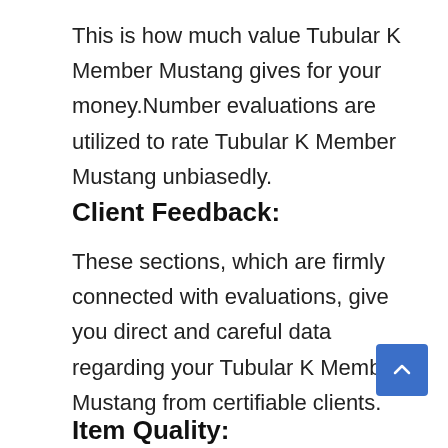This is how much value Tubular K Member Mustang gives for your money.Number evaluations are utilized to rate Tubular K Member Mustang unbiasedly.
Client Feedback:
These sections, which are firmly connected with evaluations, give you direct and careful data regarding your Tubular K Member Mustang from certifiable clients.
Item Quality: